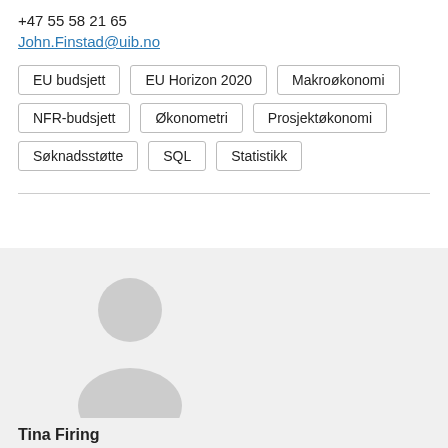+47 55 58 21 65
John.Finstad@uib.no
EU budsjett
EU Horizon 2020
Makroøkonomi
NFR-budsjett
Økonometri
Prosjektøkonomi
Søknadsstøtte
SQL
Statistikk
[Figure (illustration): Generic person silhouette avatar placeholder image]
Tina Firing